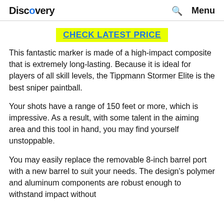Discovery | Search | Menu
CHECK LATEST PRICE
This fantastic marker is made of a high-impact composite that is extremely long-lasting. Because it is ideal for players of all skill levels, the Tippmann Stormer Elite is the best sniper paintball.
Your shots have a range of 150 feet or more, which is impressive. As a result, with some talent in the aiming area and this tool in hand, you may find yourself unstoppable.
You may easily replace the removable 8-inch barrel port with a new barrel to suit your needs. The design's polymer and aluminum components are robust enough to withstand impact without